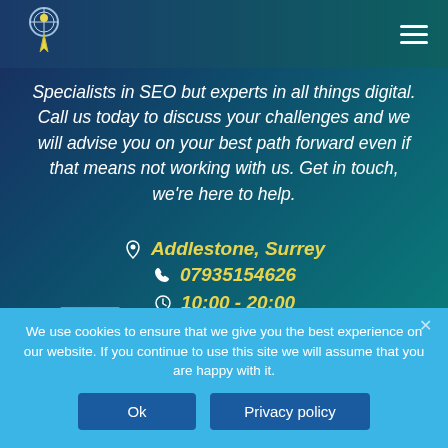[Figure (logo): Company logo with stylized icon in header]
Specialists in SEO but experts in all things digital. Call us today to discuss your challenges and we will advise you on your best path forward even if that means not working with us. Get in touch, we're here to help.
📞 07935154626
📍 Addlestone, Surrey
🕐 10:00 - 20:00
We use cookies to ensure that we give you the best experience on our website. If you continue to use this site we will assume that you are happy with it.
Ok
Privacy policy